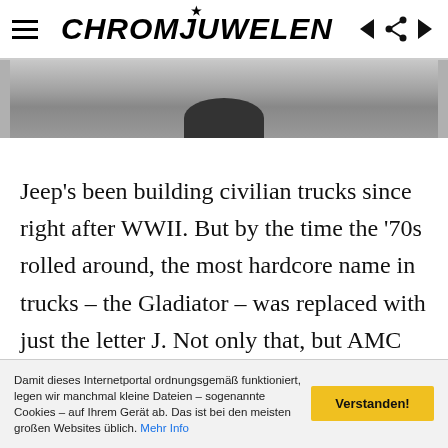CHROMJUWELEN
[Figure (photo): Partial view of a vehicle photograph, grayscale, showing the top/roof portion of what appears to be a Jeep truck against a light background.]
Jeep's been building civilian trucks since right after WWII. But by the time the '70s rolled around, the most hardcore name in trucks – the Gladiator – was replaced with just the letter J. Not only that, but AMC now owned Jeep, so that J was backed up with a tepid 258-cu.in. six that made just over 100 hp. While
Damit dieses Internetportal ordnungsgemäß funktioniert, legen wir manchmal kleine Dateien – sogenannte Cookies – auf Ihrem Gerät ab. Das ist bei den meisten großen Websites üblich. Mehr Info
Verstanden!